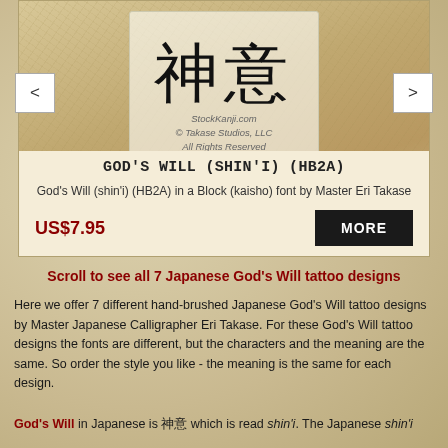[Figure (photo): Product image showing Japanese kanji characters 神意 (God's Will) rendered in block kaisho font on a textured tan paper background, with StockKanji.com watermark and navigation arrows on left and right]
GOD'S WILL (SHIN'I) (HB2A)
God's Will (shin'i) (HB2A) in a Block (kaisho) font by Master Eri Takase
US$7.95
MORE
Scroll to see all 7 Japanese God's Will tattoo designs
Here we offer 7 different hand-brushed Japanese God's Will tattoo designs by Master Japanese Calligrapher Eri Takase. For these God's Will tattoo designs the fonts are different, but the characters and the meaning are the same. So order the style you like - the meaning is the same for each design.
God's Will in Japanese is 神意 which is read shin'i. The Japanese shin'i